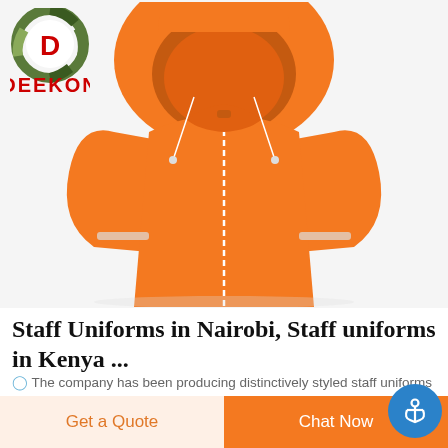[Figure (logo): DEEKON brand logo: circular camo-pattern icon with red D in center, and bold red DEEKON text below]
[Figure (photo): Orange hooded rain jacket / staff uniform jacket on white background, hood up, zipper visible]
Staff Uniforms in Nairobi, Staff uniforms in Kenya ...
The company has been producing distinctively styled staff uniforms uniforms in Kenya and work wear for both individuals and corporate organizations .With the recent procurement and installation of modern
Get a Quote
Chat Now